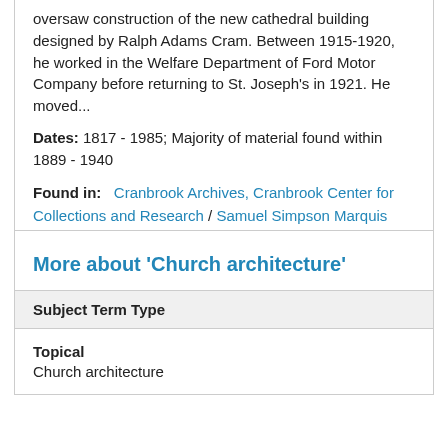oversaw construction of the new cathedral building designed by Ralph Adams Cram. Between 1915-1920, he worked in the Welfare Department of Ford Motor Company before returning to St. Joseph's in 1921. He moved...
Dates: 1817 - 1985; Majority of material found within 1889 - 1940
Found in: Cranbrook Archives, Cranbrook Center for Collections and Research / Samuel Simpson Marquis Papers
More about 'Church architecture'
| Subject Term Type |
| --- |
| Topical
Church architecture |